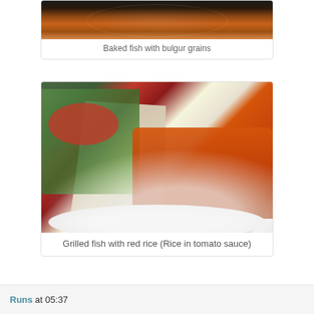[Figure (photo): Top portion of a baked fish with bulgur grains dish in a white bowl, viewed from above, on a dark background]
Baked fish with bulgur grains
[Figure (photo): Grilled fish fillet on top of red rice (rice in tomato sauce) served on a white plate, with a green salad with tomatoes and olives on the side]
Grilled fish with red rice (Rice in tomato sauce)
Runs at 05:37